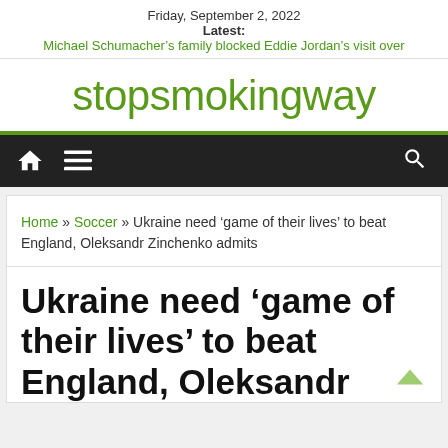Friday, September 2, 2022
Latest:
Michael Schumacher’s family blocked Eddie Jordan’s visit over
stopsmokingway
[Figure (other): Navigation bar with home icon, menu icon, and search icon on dark background]
Home » Soccer » Ukraine need ‘game of their lives’ to beat England, Oleksandr Zinchenko admits
Ukraine need ‘game of their lives’ to beat England, Oleksandr